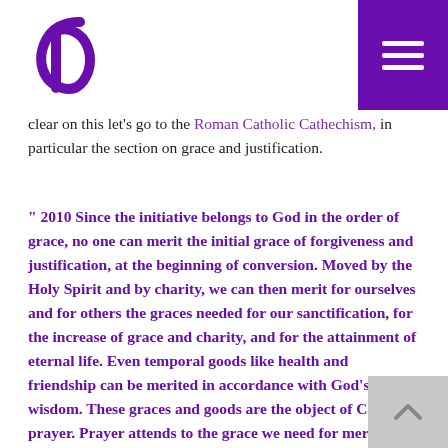d [logo] with purple hamburger menu
clear on this let’s go to the Roman Catholic Cathechism, in particular the section on grace and justification.
“ 2010 Since the initiative belongs to God in the order of grace, no one can merit the initial grace of forgiveness and justification, at the beginning of conversion. Moved by the Holy Spirit and by charity, we can then merit for ourselves and for others the graces needed for our sanctification, for the increase of grace and charity, and for the attainment of eternal life. Even temporal goods like health and friendship can be merited in accordance with God’s wisdom. These graces and goods are the object of Christian prayer. Prayer attends to the grace we need for meritorious actions. ”